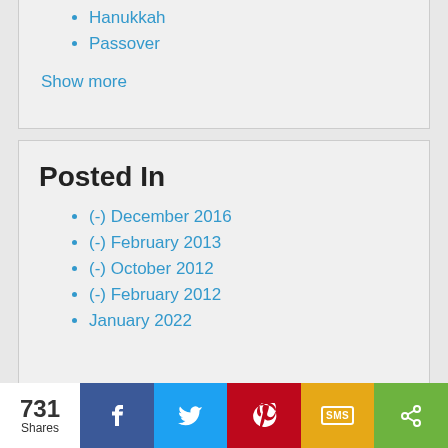Hanukkah
Passover
Show more
Posted In
(-) December 2016
(-) February 2013
(-) October 2012
(-) February 2012
January 2022
731 Shares | Facebook | Twitter | Pinterest | SMS | Share